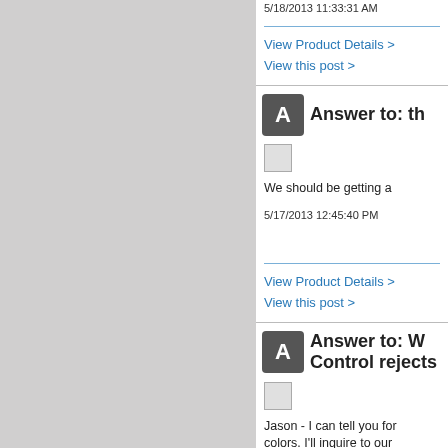5/18/2013 11:33:31 AM
View Product Details >
View this post >
Answer to: th
We should be getting a
5/17/2013 12:45:40 PM
View Product Details >
View this post >
Answer to: W Control rejects
Jason - I can tell you for colors. I'll inquire to our